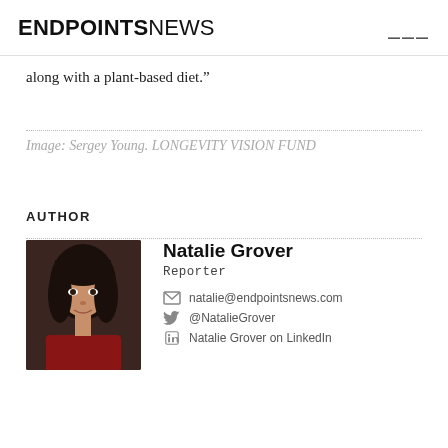ENDPOINTS NEWS
along with a plant-based diet.”
Image: Sergey Young. LONGEVITY VISION FUND
AUTHOR
Natalie Grover
Reporter
natalie@endpointsnews.com
@NatalieGrover
Natalie Grover on LinkedIn